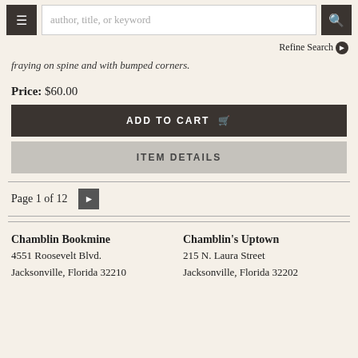author, title, or keyword [search bar] | Refine Search
fraying on spine and with bumped corners.
Price: $60.00
ADD TO CART
ITEM DETAILS
Page 1 of 12
Chamblin Bookmine
4551 Roosevelt Blvd.
Jacksonville, Florida 32210
Chamblin's Uptown
215 N. Laura Street
Jacksonville, Florida 32202